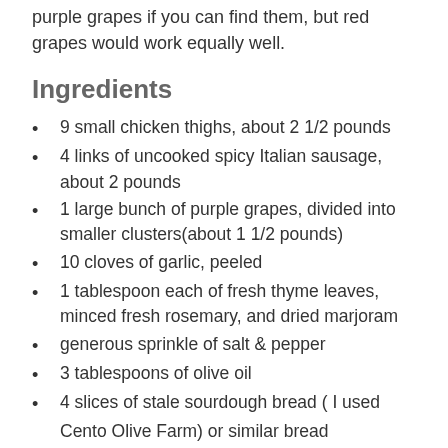purple grapes if you can find them, but red grapes would work equally well.
Ingredients
9 small chicken thighs, about 2 1/2 pounds
4 links of uncooked spicy Italian sausage, about 2 pounds
1 large bunch of purple grapes, divided into smaller clusters(about 1 1/2 pounds)
10 cloves of garlic, peeled
1 tablespoon each of fresh thyme leaves, minced fresh rosemary, and dried marjoram
generous sprinkle of salt & pepper
3 tablespoons of olive oil
4 slices of stale sourdough bread ( I used
Cento Olive Farm) or similar bread